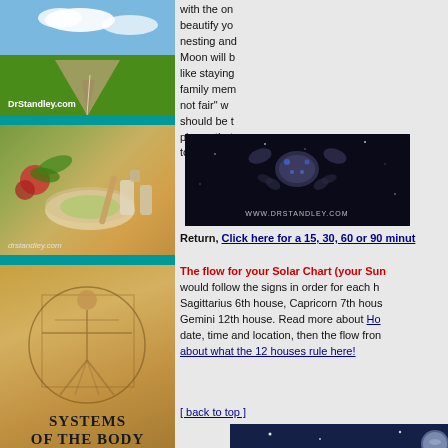[Figure (photo): DrStandley.com landscape with road and green fields under blue sky]
[Figure (photo): drstandley.com herbs and natural remedies photo]
[Figure (photo): Systems of the Body - Vitruvian man style illustration]
[Figure (photo): Downloads from God dark blue background with butterfly]
[Figure (photo): Cancer zodiac constellation on dark star background with www.DrStandley.com watermark]
with the on beautify yo nesting anc Moon will l like staying family mem not fair" w should be t pieces that today. If yo
Return, Click here for a 15, 30, 60 or 90 minut
The flow for your Solar Chart (your Sun would follow the signs in order for each h Sagittarius 6th house, Capricorn 7th hous Gemini 12th house. Read more about Ho date, time and location, then the flow fror about what the 12 houses rule here!
[ back to top ]
[Figure (photo): Night sky with trees and moon/planet]